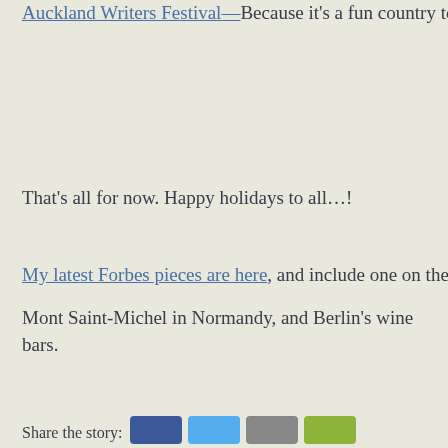Auckland Writers Festival—Because it's a fun country to
That's all for now. Happy holidays to all…!
My latest Forbes pieces are here, and include one on the i
Mont Saint-Michel in Normandy, and Berlin's wine bars.
Share the story: